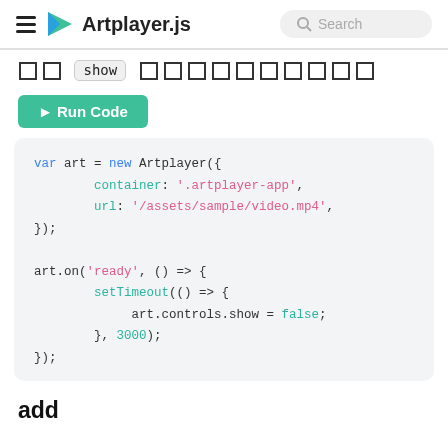Artplayer.js | Search
□□ show □□□□□□□□□□
► Run Code
[Figure (screenshot): Code block showing Artplayer.js usage: var art = new Artplayer with container and url, then art.on('ready') with setTimeout to set art.controls.show = false after 3000ms]
add